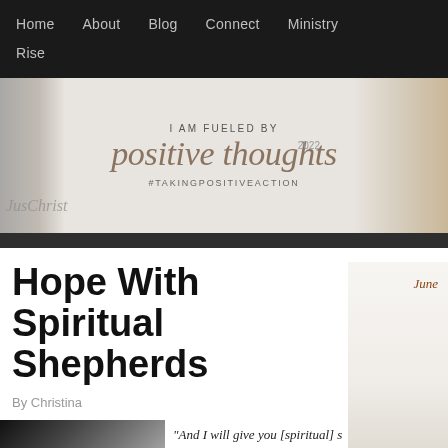Home   About   Blog   Connect   Ministry   Rise
[Figure (illustration): Website banner with cursive text reading 'positive thoughts', 'I AM FUELED BY', '2022', '#TAKINGPOSITIVEACTION', and logo 'JusChrist' on the left. Beige/tan background with decorative foliage elements on the sides.]
Hope With Spiritual Shepherds
By Christina
“And I will give you [spiritual] s